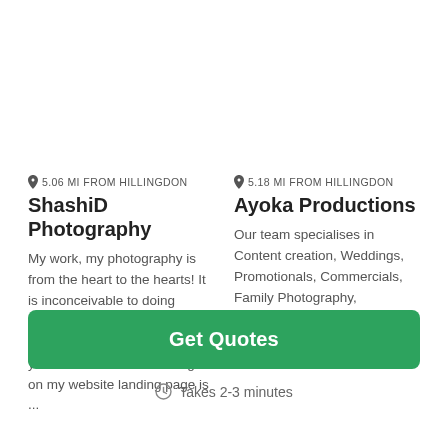9 5.06 MI FROM HILLINGDON
ShashiD Photography
My work, my photography is from the heart to the hearts! It is inconceivable to doing anything else besides photography when you feel you're born into it. The images on my website landing page is ...
9 5.18 MI FROM HILLINGDON
Ayoka Productions
Our team specialises in Content creation, Weddings, Promotionals, Commercials, Family Photography, Corporate, Music Videos, Headshots, Property, Events, and more.
Get Quotes
Takes 2-3 minutes